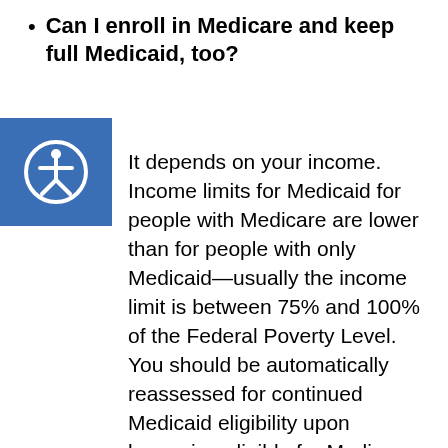Can I enroll in Medicare and keep full Medicaid, too?
[Figure (illustration): Accessibility icon: a circular border with a stylized human figure in white on a blue square background]
It depends on your income. Income limits for Medicaid for people with Medicare are lower than for people with only Medicaid—usually the income limit is between 75% and 100% of the Federal Poverty Level. You should be automatically reassessed for continued Medicaid eligibility upon becoming eligible for Medicare.[17] This renewal of eligibility will likely require you to submit additional documentation about your income and assets.[18] If you still meet more strict eligibility guidelines, you will be able to keep